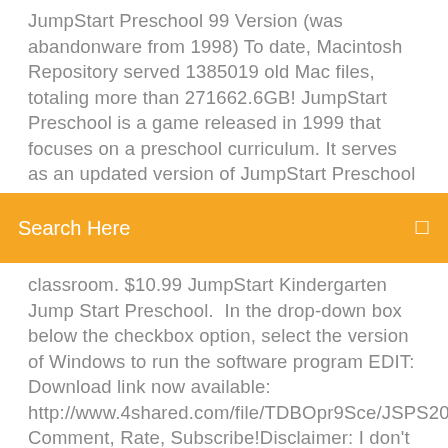JumpStart Preschool 99 Version (was abandonware from 1998) To date, Macintosh Repository served 1385019 old Mac files, totaling more than 271662.6GB! JumpStart Preschool is a game released in 1999 that focuses on a preschool curriculum. It serves as an updated version of JumpStart Preschool (1995), and would later be superseded by JumpStart Advanced
Search Here
classroom. $10.99 JumpStart Kindergarten Jump Start Preschool. In the drop-down box below the checkbox option, select the version of Windows to run the software program EDIT: Download link now available: http://www.4shared.com/file/TDBOpr9Sce/JSPS2001.html? Comment, Rate, Subscribe!Disclaimer: I don't own anything.Here's anot برامج تحميل Jumpstart هو ، مباشر برابط واحد من أفضل البرامج المتوفرة على الإطلاق عبر شبكة الإنترنت ومن المستحيل ألا يبحث أي مستخدم من المستخدمين عن ذلك البرنامج، نظراً إلى قدرته على كسر كافة شبكات الواي فاي المحمية